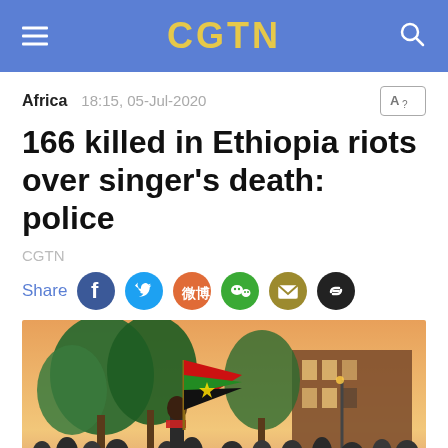CGTN
Africa  18:15, 05-Jul-2020
166 killed in Ethiopia riots over singer's death: police
CGTN
Share
[Figure (photo): A crowd of people at a protest, with a person holding an Oromo flag (red, green, black) in the foreground. Trees and a brick building visible in the background against an orange-pink sunset sky. Urban street scene with many protesters.]